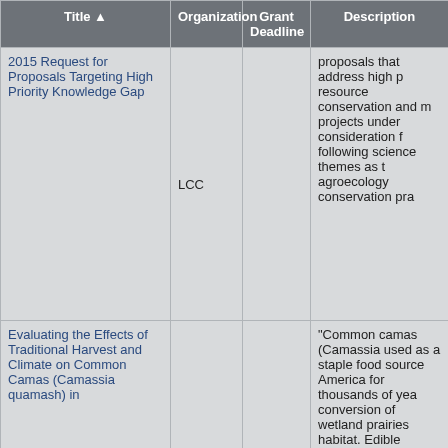| Title | Organization | Grant Deadline | Description |
| --- | --- | --- | --- |
| 2015 Request for Proposals Targeting High Priority Knowledge Gap | LCC |  | proposals that address high p... resource conservation and m... projects under consideration f... following science themes as t... agroecology conservation pra... |
| Evaluating the Effects of Traditional Harvest and Climate on Common Camas (Camassia quamash) in |  |  | "Common camas (Camassia ... used as a staple food source ... America for thousands of yea... conversion of wetland prairies... habitat. Edible camas bulbs w... from soil, and it has been hyp... increase in the number of cam... camas depends on seasonall... likely drivers of camas popula... influences on camas populati... Prairie, Idaho historical site to... simulated traditional harvest p... of harvest and fire on three re... considered these impacts on ... bare ground as well. My expe... camas population monitoring... |